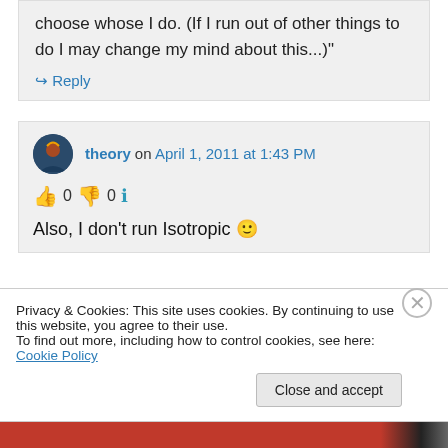choose whose I do. (If I run out of other things to do I may change my mind about this...)"
↪ Reply
theory on April 1, 2011 at 1:43 PM
👍 0 👎 0 ℹ
Also, I don't run Isotropic 🙂
Privacy & Cookies: This site uses cookies. By continuing to use this website, you agree to their use.
To find out more, including how to control cookies, see here: Cookie Policy
Close and accept